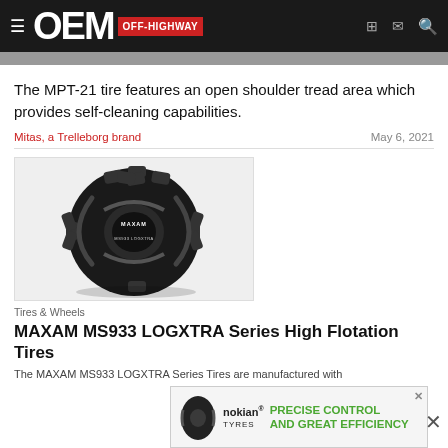OEM OFF-HIGHWAY
The MPT-21 tire features an open shoulder tread area which provides self-cleaning capabilities.
Mitas, a Trelleborg brand    May 6, 2021
[Figure (photo): Black MAXAM off-highway tire with aggressive tread pattern, shown on white background]
Tires & Wheels
MAXAM MS933 LOGXTRA Series High Flotation Tires
The MAXAM MS933 LOGXTRA Series Tires are manufactured with
[Figure (advertisement): Nokian Tyres advertisement with tire image and text: PRECISE CONTROL AND GREAT EFFICIENCY]